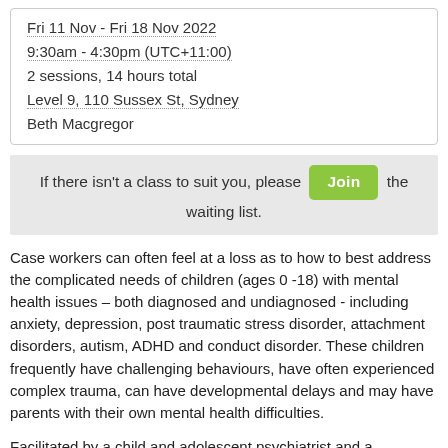Fri 11 Nov - Fri 18 Nov 2022
9:30am - 4:30pm (UTC+11:00)
2 sessions, 14 hours total
Level 9, 110 Sussex St, Sydney
Beth Macgregor
If there isn't a class to suit you, please Join the waiting list.
Case workers can often feel at a loss as to how to best address the complicated needs of children (ages 0 -18) with mental health issues – both diagnosed and undiagnosed - including anxiety, depression, post traumatic stress disorder, attachment disorders, autism, ADHD and conduct disorder. These children frequently have challenging behaviours, have often experienced complex trauma, can have developmental delays and may have parents with their own mental health difficulties.
Facilitated by a child and adolescent psychiatrist and a psychologist, this program focuses on building caseworkers'